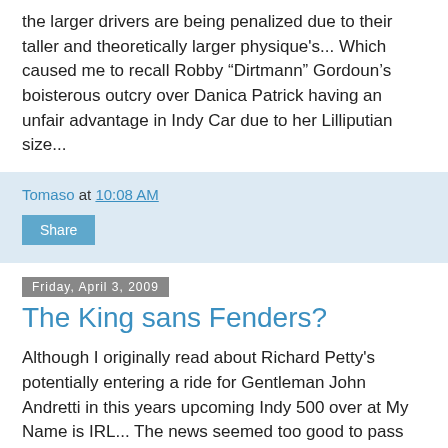the larger drivers are being penalized due to their taller and theoretically larger physique's... Which caused me to recall Robby “Dirtmann” Gordoun’s boisterous outcry over Danica Patrick having an unfair advantage in Indy Car due to her Lilliputian size...
Tomaso at 10:08 AM
Share
Friday, April 3, 2009
The King sans Fenders?
Although I originally read about Richard Petty’s potentially entering a ride for Gentleman John Andretti in this years upcoming Indy 500 over at My Name is IRL... The news seemed too good to pass up after Marc of Full Throttle sent me an email informing me that The King was going Fenderless? (Hence the inspiration for the title above...) Although I swear I heard ‘Ol Gentleman John on the Speed Freaks after Dav toner claimin’ he’d opticed the owners of